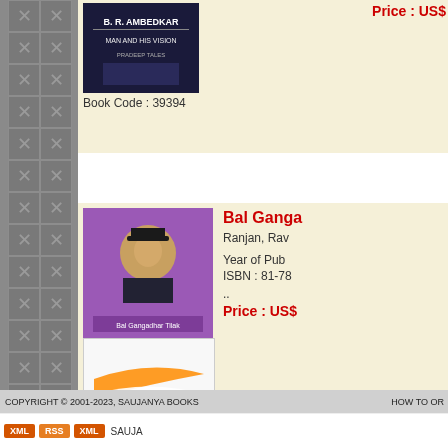[Figure (photo): Book cover for B.R. Ambedkar - Man and His Vision, dark blue background with text]
Book Code : 39394
Price : US$
[Figure (photo): Book cover for Bal Gangadhar Tilak, two-part cover: purple top with portrait, white bottom with Indian flag design, author names Raul Ranjan and M.K. Singh]
Bal Ganga
Ranjan, Rav
Year of Pub
ISBN : 81-78
..
Price : US$
Book Code : 39635
Previous  1 2 3 4 5 6 7 8 9  26 27 28 29 30 31 32 33 34 35  52 53 54 55 56 57 58 59 60 6  78 79 80 81 82 83 84 85 86 87  103 104 105 106 107 108 10  121 122 1
COPYRIGHT © 2001-2023, SAUJANYA BOOKS    HOW TO OR
XML  RSS  XML  SAUJA